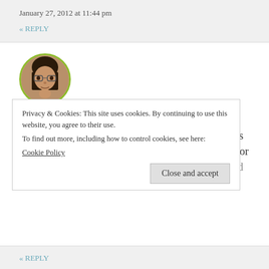January 27, 2012 at 11:44 pm
« REPLY
[Figure (photo): Circular avatar photo of a woman with glasses, bordered by a green circle]
balvinder says:
Your posts make me high just by reading it. What is going to happen if I start eating chocolate like you or my daughter? It looks heavenly with that candy and chocolate drizzle. I should make this for
Privacy & Cookies: This site uses cookies. By continuing to use this website, you agree to their use.
To find out more, including how to control cookies, see here:
Cookie Policy
Close and accept
« REPLY